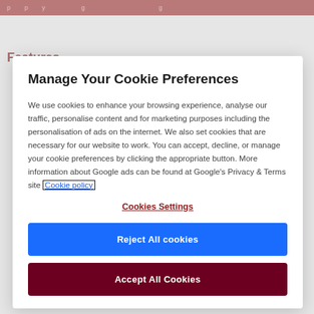p p y g g
Features
Manage Your Cookie Preferences
We use cookies to enhance your browsing experience, analyse our traffic, personalise content and for marketing purposes including the personalisation of ads on the internet. We also set cookies that are necessary for our website to work. You can accept, decline, or manage your cookie preferences by clicking the appropriate button. More information about Google ads can be found at Google's Privacy & Terms site Cookie policy
Cookies Settings
Reject All cookies
Accept All Cookies